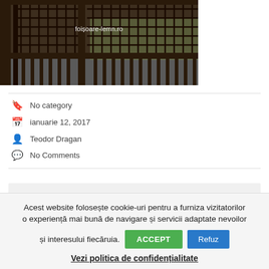[Figure (photo): Photograph of a wooden lattice fence/pergola structure with watermark text 'foișoare-lemn.ro']
No category
ianuarie 12, 2017
Teodor Dragan
No Comments
Acest website folosește cookie-uri pentru a furniza vizitatorilor o experiență mai bună de navigare și servicii adaptate nevoilor și interesului fiecăruia.
ACCEPT
Refuz
Vezi politica de confidențialitate